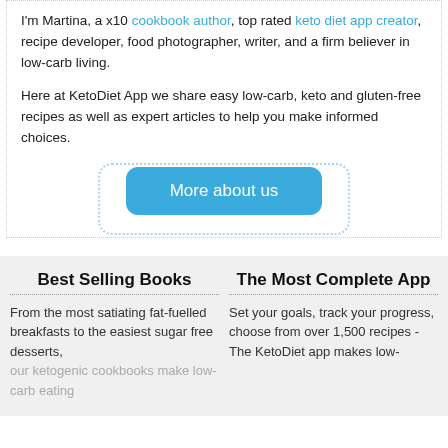I'm Martina, a x10 cookbook author, top rated keto diet app creator, recipe developer, food photographer, writer, and a firm believer in low-carb living.
Here at KetoDiet App we share easy low-carb, keto and gluten-free recipes as well as expert articles to help you make informed choices.
More about us
Best Selling Books
From the most satiating fat-fuelled breakfasts to the easiest sugar free desserts, our ketogenic cookbooks make low-carb eating
The Most Complete App
Set your goals, track your progress, choose from over 1,500 recipes - The KetoDiet app makes low-